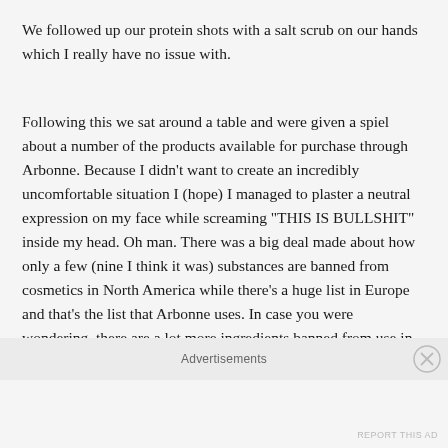We followed up our protein shots with a salt scrub on our hands which I really have no issue with.
Following this we sat around a table and were given a spiel about a number of the products available for purchase through Arbonne. Because I didn’t want to create an incredibly uncomfortable situation I (hope) I managed to plaster a neutral expression on my face while screaming “THIS IS BULLSHIT” inside my head. Oh man. There was a big deal made about how only a few (nine I think it was) substances are banned from cosmetics in North America while there’s a huge list in Europe and that’s the list that Arbonne uses. In case you were wondering, there are a lot more ingredients banned from use in Canadian cosmetics than nine. I
Advertisements